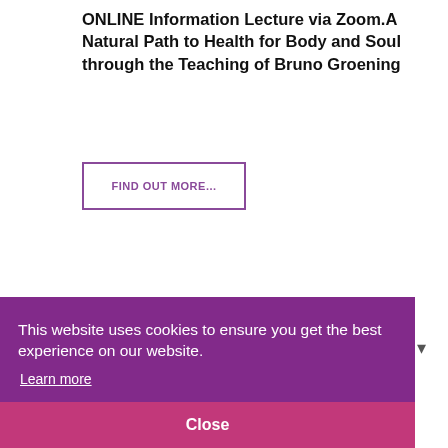ONLINE Information Lecture via Zoom.A Natural Path to Health for Body and Soul through the Teaching of Bruno Groening
FIND OUT MORE...
Display # 25
This website uses cookies to ensure you get the best experience on our website. Learn more
Close